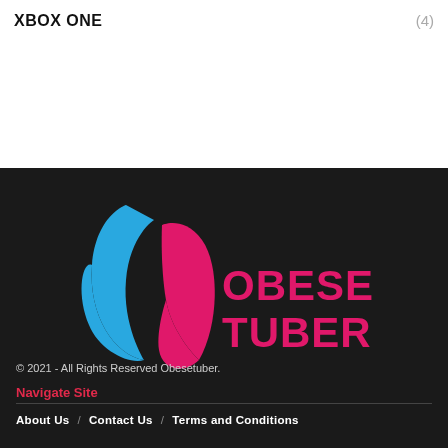XBOX ONE (4)
[Figure (logo): ObeseTuber logo: two abstract leaf/drop shapes in blue and pink on dark background, with text OBESE TUBER in bold pink to the right]
© 2021 - All Rights Reserved Obesetuber.
Navigate Site
About Us / Contact Us / Terms and Conditions